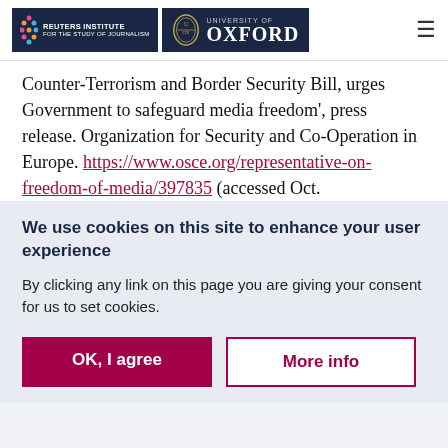Reuters Institute for the Study of Journalism | University of Oxford
Counter-Terrorism and Border Security Bill, urges Government to safeguard media freedom', press release. Organization for Security and Co-Operation in Europe. https://www.osce.org/representative-on-freedom-of-media/397835 (accessed Oct.
We use cookies on this site to enhance your user experience
By clicking any link on this page you are giving your consent for us to set cookies.
OK, I agree | More info